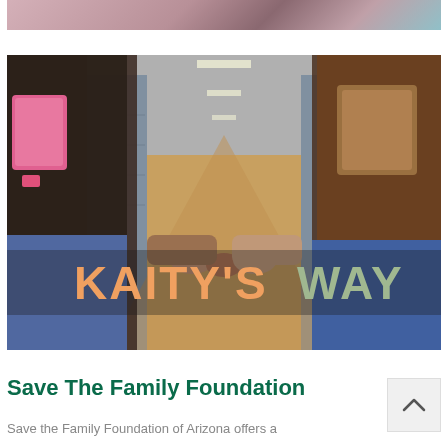[Figure (photo): Partial top photo strip showing students or people, cropped at top of page]
[Figure (photo): Two students holding hands walking through a school hallway with lockers, backpacks visible. Text overlay reads KAITY'S WAY in orange and green bold letters.]
Save The Family Foundation
Save the Family Foundation of Arizona offers a